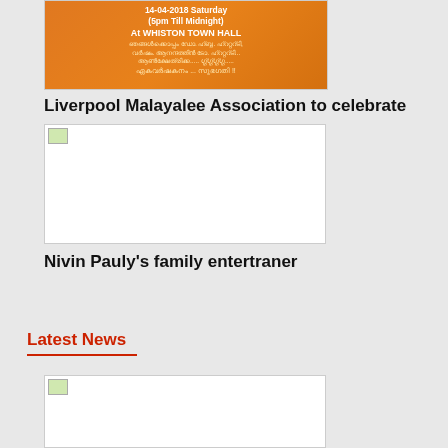[Figure (illustration): Orange banner for an event at Whiston Town Hall on 14-04-2018 Saturday (5pm Till Midnight), with images of Jesus Christ and Lord Krishna on either side, text in English and Malayalam]
Liverpool Malayalee Association to celebrate
[Figure (photo): A placeholder image (broken/loading image icon shown in top-left corner) with white background]
Nivin Pauly's family entertraner
Latest News
[Figure (photo): A placeholder image (broken/loading image icon shown in top-left corner) with white background, partially visible at bottom of page]